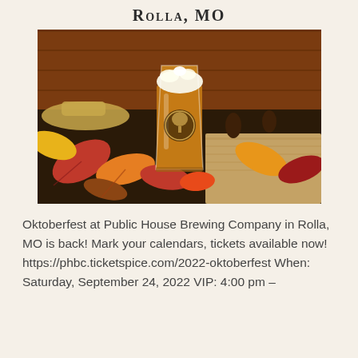Rolla, MO
[Figure (photo): A glass of amber beer with a brewery logo sits among colorful autumn leaves (red, orange, yellow) on a dark surface with burlap fabric, with a wooden fence and hat in the background.]
Oktoberfest at Public House Brewing Company in Rolla, MO is back! Mark your calendars, tickets available now! https://phbc.ticketspice.com/2022-oktoberfest When: Saturday, September 24, 2022 VIP: 4:00 pm –